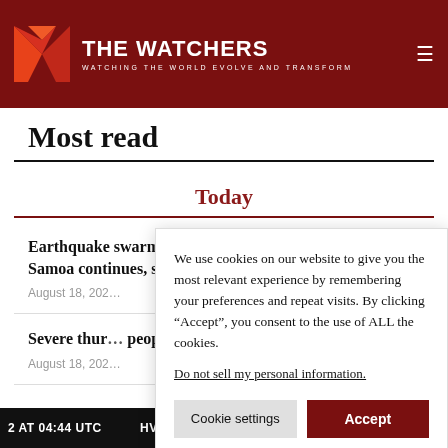THE WATCHERS — WATCHING THE WORLD EVOLVE AND TRANSFORM
Most read
Today
Earthquake swarm in American Samoa continues, s...
August 18, 202...
Severe thun... people dead...
August 18, 202...
We use cookies on our website to give you the most relevant experience by remembering your preferences and repeat visits. By clicking "Accept", you consent to the use of ALL the cookies.
Do not sell my personal information.
2 AT 04:44 UTC    HVO TA'U ISLAND UNA...